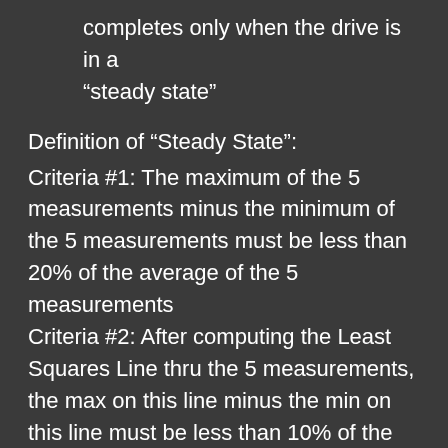completes only when the drive is in a “steady state”
Definition of “Steady State”:
Criteria #1: The maximum of the 5 measurements minus the minimum of the 5 measurements must be less than 20% of the average of the 5 measurements
Criteria #2: After computing the Least Squares Line thru the 5 measurements, the max on this line minus the min on this line must be less than 10% of the average of the 5 measurements.